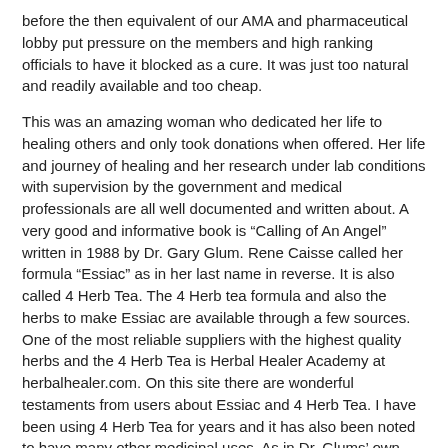before the then equivalent of our AMA and pharmaceutical lobby put pressure on the members and high ranking officials to have it blocked as a cure. It was just too natural and readily available and too cheap.
This was an amazing woman who dedicated her life to healing others and only took donations when offered. Her life and journey of healing and her research under lab conditions with supervision by the government and medical professionals are all well documented and written about. A very good and informative book is “Calling of An Angel” written in 1988 by Dr. Gary Glum. Rene Caisse called her formula “Essiac” as in her last name in reverse. It is also called 4 Herb Tea. The 4 Herb tea formula and also the herbs to make Essiac are available through a few sources. One of the most reliable suppliers with the highest quality herbs and the 4 Herb Tea is Herbal Healer Academy at herbalhealer.com. On this site there are wonderful testaments from users about Essiac and 4 Herb Tea. I have been using 4 Herb Tea for years and it has also been noted to have many other medicinal uses. As in Dr. Glums’ own experience, he used it to heal his chronic bronchitis. Take control and research for your own health and, in cancer situations, your life! As I always state in my blogs; do something at least. Just don’t leave it up to someone else.
I am passionate when it comes to the poor innocent men, women and children being killed by our typical medical treatments. Millions are dying needlessly because of greed and power and ego. That this country and world has come to that is totally abhorrent and opposite of the Hippocratic Oath. We ALL deserve a life of health and wellbeing. Please, please if you have cancer or know someone